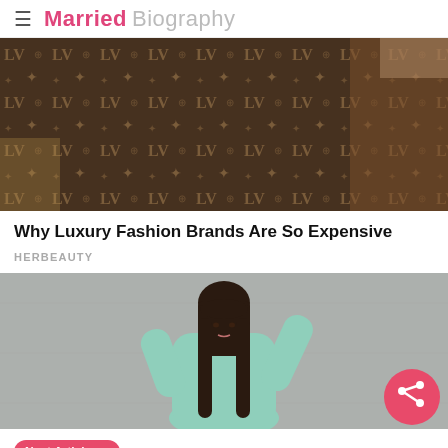Married Biography
[Figure (photo): Louis Vuitton monogram blanket/scarf held by a person sitting in a luxury car interior]
Why Luxury Fashion Brands Are So Expensive
HERBEAUTY
[Figure (photo): Young Asian woman with long dark hair wearing a mint/light green oversized turtleneck sweater, posing against a grey concrete wall. A pink share button is overlaid in the bottom right.]
Next Article >> What did Gigi Hadid crave during her pregnancy? Check out her unseen pictures!